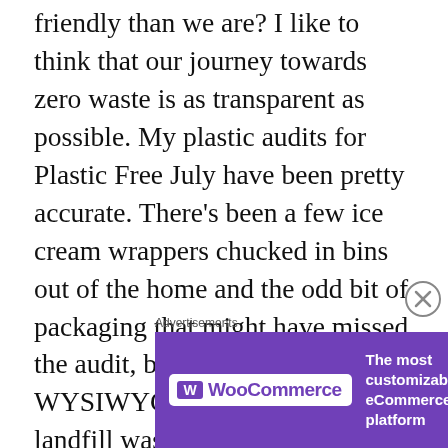friendly than we are? I like to think that our journey towards zero waste is as transparent as possible. My plastic audits for Plastic Free July have been pretty accurate. There’s been a few ice cream wrappers chucked in bins out of the home and the odd bit of packaging that might have missed the audit, but on the whole WYSIWYG. Similarly, our jar of landfill waste during Zero Waste Week is true to life.

Could I be more transparent? What are the biggest impacts on the environment for our
[Figure (other): WooCommerce advertisement banner with purple background. Shows WooCommerce logo and tagline: 'The most customizable eCommerce platform'. Above banner is the label 'Advertisements'. A close button (X in circle) appears to the right.]